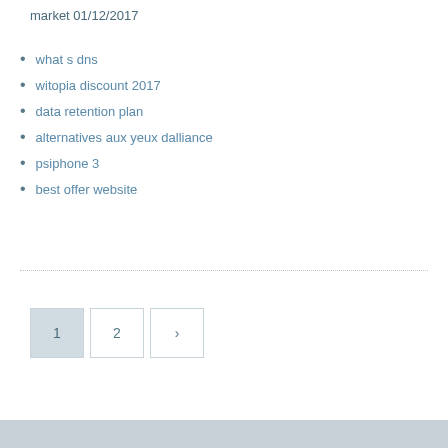market 01/12/2017
what s dns
witopia discount 2017
data retention plan
alternatives aux yeux dalliance
psiphone 3
best offer website
1 2 >